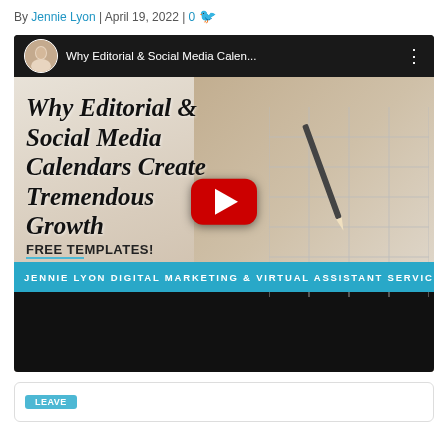By Jennie Lyon | April 19, 2022 | 0
[Figure (screenshot): YouTube video thumbnail for 'Why Editorial & Social Media Calen...' showing a hand writing in a calendar/planner. Features the text 'Why Editorial & Social Media Calendars Create Tremendous Growth', 'FREE TEMPLATES!', 'JENNIELYON.COM', a red YouTube play button, and a blue banner reading 'JENNIE LYON DIGITAL MARKETING & VIRTUAL ASSISTANT SERVIC'. The video player UI is visible at top.]
[Figure (screenshot): Bottom portion showing the beginning of a comment or content box with a teal/blue tab element visible.]